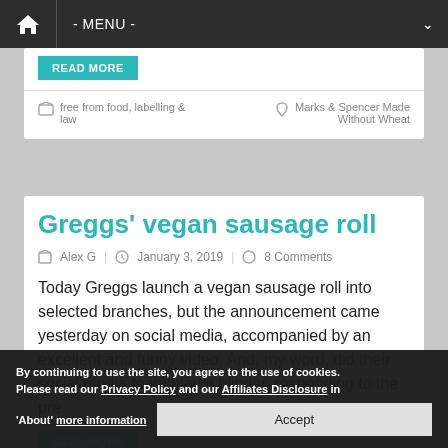- MENU -
READ MORE
free from food, labelling & law    Marks & Spencer Made Without Wheat
Greggs' vegan sausage roll
Alex G  |  January 3, 2019  |  8 Comments
Today Greggs launch a vegan sausage roll into selected branches, but the announcement came yesterday on social media, accompanied by an excellent and funny video. And, my word, did their social media team play a blinder, responding to the pre...
READ MORE
By continuing to use the site, you agree to the use of cookies. Please read our Privacy Policy and our Affiliates Disclosure in 'About' more information  Accept